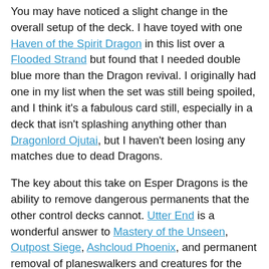You may have noticed a slight change in the overall setup of the deck. I have toyed with one Haven of the Spirit Dragon in this list over a Flooded Strand but found that I needed double blue more than the Dragon revival. I originally had one in my list when the set was still being spoiled, and I think it's a fabulous card still, especially in a deck that isn't splashing anything other than Dragonlord Ojutai, but I haven't been losing any matches due to dead Dragons.
The key about this take on Esper Dragons is the ability to remove dangerous permanents that the other control decks cannot. Utter End is a wonderful answer to Mastery of the Unseen, Outpost Siege, Ashcloud Phoenix, and permanent removal of planeswalkers and creatures for the game's duration. It also just kills anything important since the Ultimate Prices deal with Stormbreath Dragon for the cheap cost of two mana. I can't remember the last time I was repeatedly overwhelmed by Dragons, Hydras, or anything that was crafted to hose control because of the